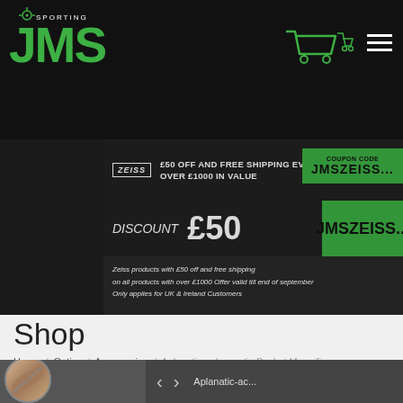[Figure (logo): JMS Sporting logo in green on black background with shopping cart icons and hamburger menu]
[Figure (infographic): Zeiss promotional banner: £50 off and free shipping every Zeiss product over £1000 in value. Discount £50. Coupon code JMSZEISS. Offer valid till end of september, only applies for UK & Ireland Customers.]
Shop
Home / Optics / Accessories / Aplanatic-achromatic Pocket Magnifiers D 24 AR
[Figure (photo): Product image area (white box)]
[Figure (screenshot): Bottom navigation bar with product thumbnail and Aplanatic-ac... label]